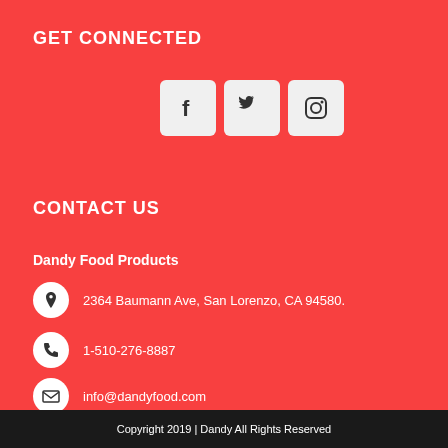GET CONNECTED
[Figure (illustration): Three social media icon buttons: Facebook (f), Twitter (bird), Instagram (camera) in light rounded square boxes on red background]
CONTACT US
Dandy Food Products
2364 Baumann Ave, San Lorenzo, CA 94580.
1-510-276-8887
info@dandyfood.com
Copyright 2019 | Dandy All Rights Reserved